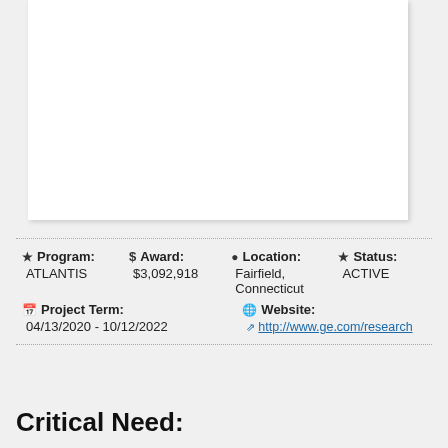[Figure (other): White card image placeholder area at the top of the page]
| Program: | ATLANTIS | Award: | $3,092,918 | Location: | Fairfield, Connecticut | Status: | ACTIVE |
| Project Term: | 04/13/2020 - 10/12/2022 | Website: | http://www.ge.com/research |
Critical Need: